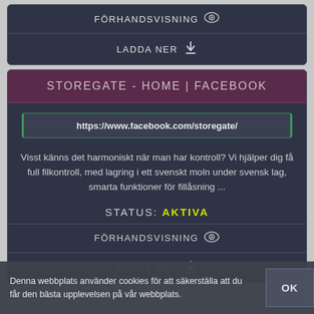FÖRHANDSVISNING
LADDA NER
STOREGATE - HOME | FACEBOOK
https://www.facebook.com/storegate/
Visst känns det harmoniskt när man har kontroll? Vi hjälper dig få full filkontroll, med lagring i ett svenskt moln under svensk lag, smarta funktioner för fillåsning ...
STATUS: AKTIVA
FÖRHANDSVISNING
LADDA NER
Denna webbplats använder cookies för att säkerställa att du får den bästa upplevelsen på vår webbplats.